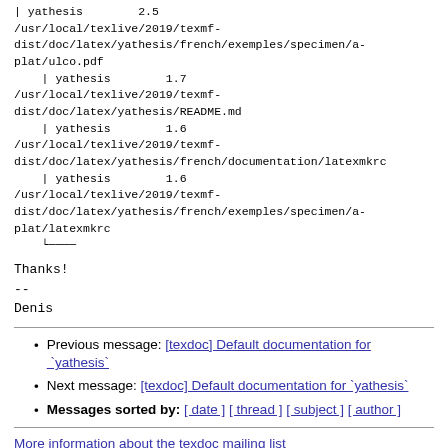| yathesis        2.5
/usr/local/texlive/2019/texmf-dist/doc/latex/yathesis/french/exemples/specimen/a-plat/ulco.pdf
    | yathesis        1.7
/usr/local/texlive/2019/texmf-dist/doc/latex/yathesis/README.md
    | yathesis        1.6
/usr/local/texlive/2019/texmf-dist/doc/latex/yathesis/french/documentation/latexmkrc
    | yathesis        1.6
/usr/local/texlive/2019/texmf-dist/doc/latex/yathesis/french/exemples/specimen/a-plat/latexmkrc
    └────
Thanks!
--
Denis
Previous message: [texdoc] Default documentation for `yathesis`
Next message: [texdoc] Default documentation for `yathesis`
Messages sorted by: [ date ] [ thread ] [ subject ] [ author ]
More information about the texdoc mailing list.